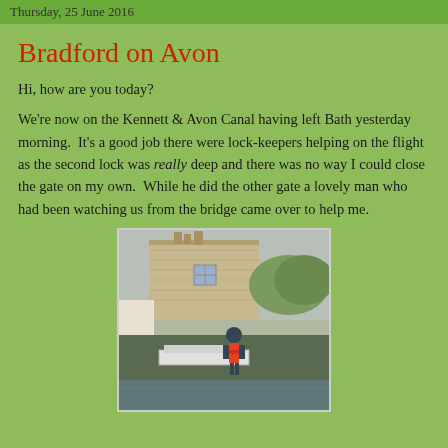Thursday, 25 June 2016
Bradford on Avon
Hi, how are you today?
We're now on the Kennett & Avon Canal having left Bath yesterday morning.  It's a good job there were lock-keepers helping on the flight as the second lock was really deep and there was no way I could close the gate on my own.  While he did the other gate a lovely man who had been watching us from the bridge came over to help me.
[Figure (photo): A person wearing a red life jacket working on a narrowboat lock, with a stone building visible in the background under an overcast sky.]